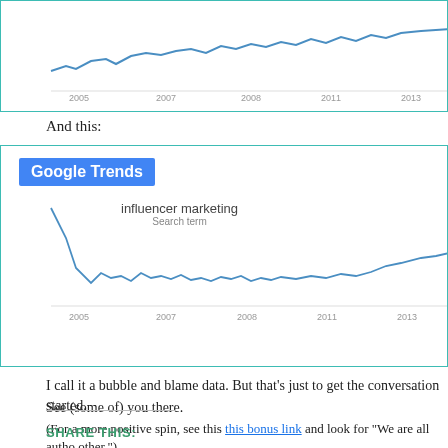[Figure (continuous-plot): Google Trends line chart showing search interest over time from approximately 2005 to 2013, with a blue line trending upward. Cropped at top, showing x-axis labels: 2005, 2007, 2008, 2011, 2013.]
And this:
[Figure (continuous-plot): Google Trends screenshot showing search interest for 'influencer marketing' (Search term) from 2005 to 2013. Line starts high, drops sharply, then remains relatively flat with slight uptick at the end. Google Trends badge in blue in upper left. X-axis labels: 2005, 2007, 2008, 2011, 2013.]
I call it a bubble and blame data. But that’s just to get the conversation started.
See (some of) you there.
(For a more positive spin, see this this bonus link and look for “We are all autho other.”)
SHARE THIS: